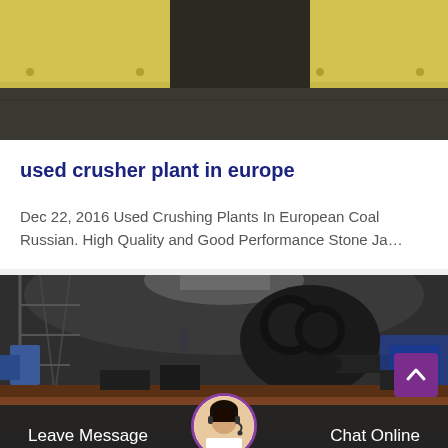[Figure (photo): Partial view of a yellow/cream-colored industrial machine base or frame sitting on a dark concrete factory floor]
used crusher plant in europe
Dec 22, 2016 Used Crushing Plants In European Coal Russian. High Quality and Good Performance Stone Ja…
[Figure (photo): Industrial crusher components including heavy cast iron/steel parts on a factory floor with metal framework structures in background]
Leave Message   Chat Online